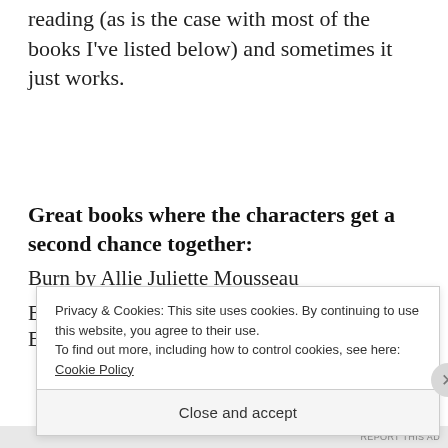reading (as is the case with most of the books I've listed below) and sometimes it just works.
Great books where the characters get a second chance together:
Burn by Allie Juliette Mousseau
Privacy & Cookies: This site uses cookies. By continuing to use this website, you agree to their use.
To find out more, including how to control cookies, see here: Cookie Policy
Close and accept